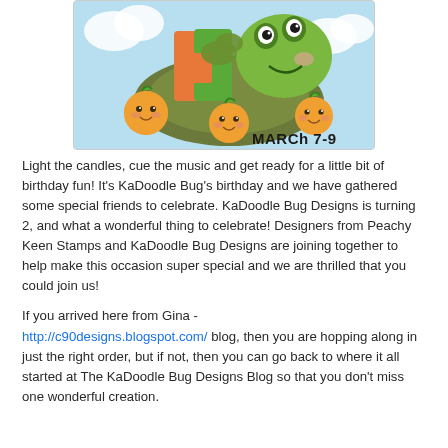[Figure (illustration): Cartoon illustration of a green frog/turtle with orange/green birthday number decorations, three smiling orange fruit characters, on a light blue background. Text reads 'MARCh 7-9' in bold black lettering at bottom right.]
Light the candles, cue the music and get ready for a little bit of birthday fun!  It's KaDoodle Bug's birthday and we have gathered some special friends to celebrate.  KaDoodle Bug Designs is turning 2,  and what a wonderful thing to celebrate!  Designers from Peachy Keen Stamps and KaDoodle Bug Designs are joining together to help make this occasion super special and we are thrilled that you could join us!
If you arrived here from  Gina - http://c90designs.blogspot.com/  blog, then you are hopping along in just the right order, but if not, then you can go back to where it all started at The KaDoodle Bug Designs Blog so that you don't miss one wonderful creation.